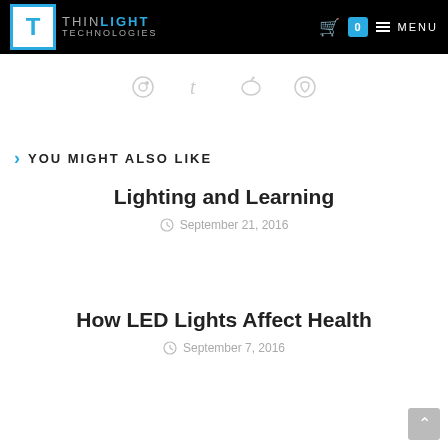THIN LIGHT TECHNOLOGIES | 0 | MENU
[Figure (illustration): Social media share icons: Reddit, Tumblr, Digg/Vingle, WhatsApp]
YOU MIGHT ALSO LIKE
Lighting and Learning
September 21, 2016
How LED Lights Affect Health
September 7, 2016